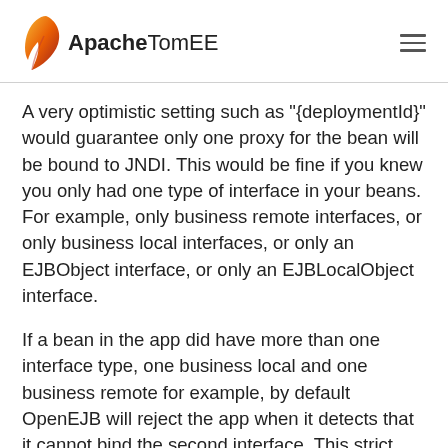Apache TomEE
A very optimistic setting such as "{deploymentId}" would guarantee only one proxy for the bean will be bound to JNDI. This would be fine if you knew you only had one type of interface in your beans. For example, only business remote interfaces, or only business local interfaces, or only an EJBObject interface, or only an EJBLocalObject interface.
If a bean in the app did have more than one interface type, one business local and one business remote for example, by default OpenEJB will reject the app when it detects that it cannot bind the second interface. This strict behavior can be disabled with the ...